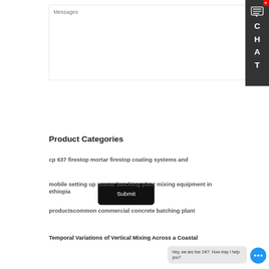[Figure (screenshot): Messages textarea input box with placeholder text 'Messages']
[Figure (screenshot): Submit button black rounded rectangle]
[Figure (screenshot): Chat panel on right side with X close button, chat bubble icon, and vertical letters C H A T on dark background]
Product Categories
cp 637 firestop mortar firestop coating systems and
mobile setting up mortar batching plant mixing equipment in ethiopia
productscommon commercial concrete batching plant
Temporal Variations of Vertical Mixing Across a Coastal
[Figure (screenshot): Live chat bubble at bottom right: 'Hey, we are live 24/7. How may I help you?' with blue circular chat button showing three dots]